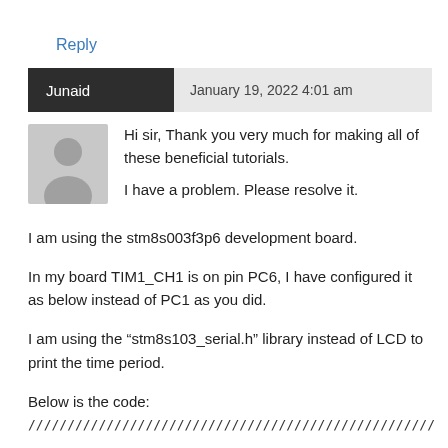Reply
Junaid  January 19, 2022 4:01 am
Hi sir, Thank you very much for making all of these beneficial tutorials.

I have a problem. Please resolve it.
I am using the stm8s003f3p6 development board.
In my board TIM1_CH1 is on pin PC6, I have configured it as below instead of PC1 as you did.
I am using the “stm8s103_serial.h” library instead of LCD to print the time period.
Below is the code:
////////////////////////////////////////////////////